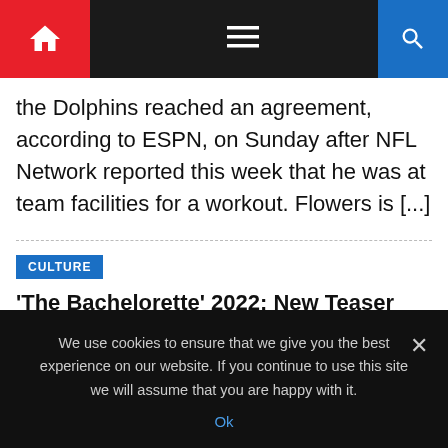Navigation bar with home icon, hamburger menu, and search icon
the Dolphins reached an agreement, according to ESPN, on Sunday after NFL Network reported this week that he was at team facilities for a workout. Flowers is [...]
CULTURE
'The Bachelorette' 2022: New Teaser Hints This Seasons' 'Villains' Won't Appear at the 'Men Tell All'
August 28, 2022   Usanewssite   Comment(0)
We use cookies to ensure that we give you the best experience on our website. If you continue to use this site we will assume that you are happy with it.
Ok